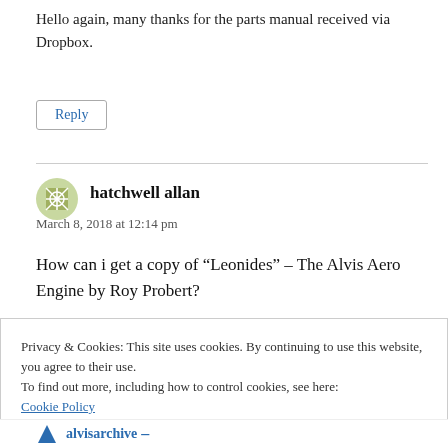Hello again, many thanks for the parts manual received via Dropbox.
Reply
hatchwell allan
March 8, 2018 at 12:14 pm
How can i get a copy of “Leonides” – The Alvis Aero Engine by Roy Probert?
Privacy & Cookies: This site uses cookies. By continuing to use this website, you agree to their use.
To find out more, including how to control cookies, see here:
Cookie Policy
Close and accept
alvisarchive –